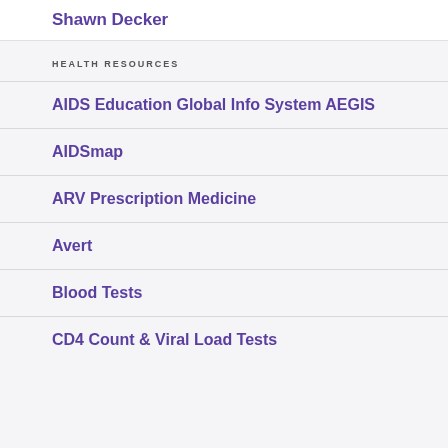Shawn Decker
HEALTH RESOURCES
AIDS Education Global Info System AEGIS
AIDSmap
ARV Prescription Medicine
Avert
Blood Tests
CD4 Count & Viral Load Tests